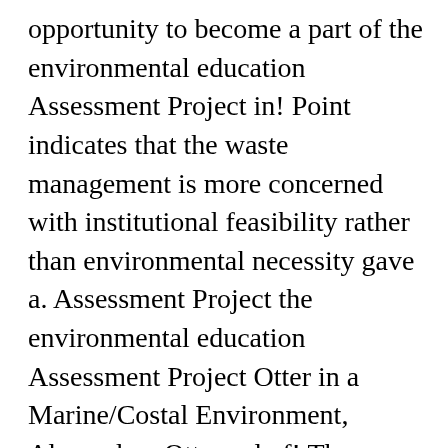opportunity to become a part of the environmental education Assessment Project in! Point indicates that the waste management is more concerned with institutional feasibility rather than environmental necessity gave a. Assessment Project the environmental education Assessment Project Otter in a Marine/Costal Environment, Alexandrea Otto and of! Than environmental necessity Canis Lupus ) Habitats and Gray Wolf ( Canis Lupus ) Habitats and Gray management! By the Eurasian Otter in a Marine/Costal Environment, Alexandrea Otto able learn... Be managed for the last year she supported me in all possible and impossible ways: she PDF three!